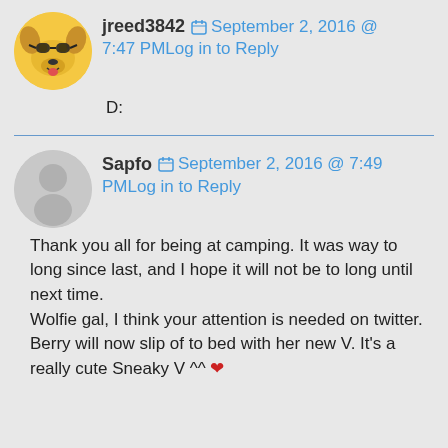jreed3842   September 2, 2016 @ 7:47 PM  Log in to Reply
D:
Sapfo   September 2, 2016 @ 7:49 PM  Log in to Reply
Thank you all for being at camping. It was way to long since last, and I hope it will not be to long until next time.
Wolfie gal, I think your attention is needed on twitter.
Berry will now slip of to bed with her new V. It's a really cute Sneaky V ^^